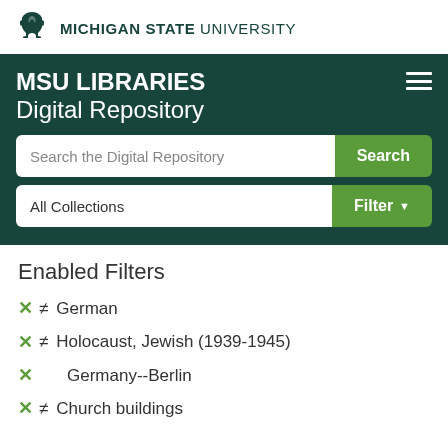[Figure (logo): Michigan State University logo with Spartan helmet and text 'MICHIGAN STATE UNIVERSITY']
MSU LIBRARIES Digital Repository
Search the Digital Repository
All Collections
Enabled Filters
✕ ≠  German
✕ ≠  Holocaust, Jewish (1939-1945)
✕  Germany--Berlin
✕ ≠  Church buildings